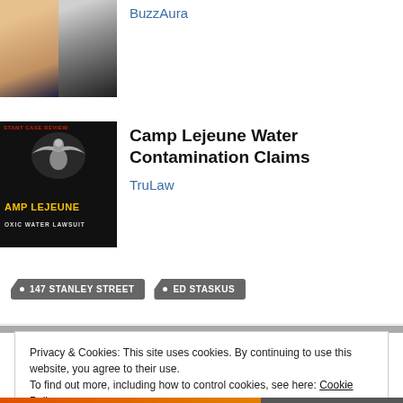[Figure (photo): Two people (man and woman) photo thumbnail with BuzzAura label]
BuzzAura
[Figure (photo): Camp Lejeune Toxic Water Lawsuit thumbnail — dark background with Marine Corps eagle emblem and yellow text]
Camp Lejeune Water Contamination Claims
TruLaw
147 STANLEY STREET
ED STASKUS
Privacy & Cookies: This site uses cookies. By continuing to use this website, you agree to their use.
To find out more, including how to control cookies, see here: Cookie Policy
Close and accept